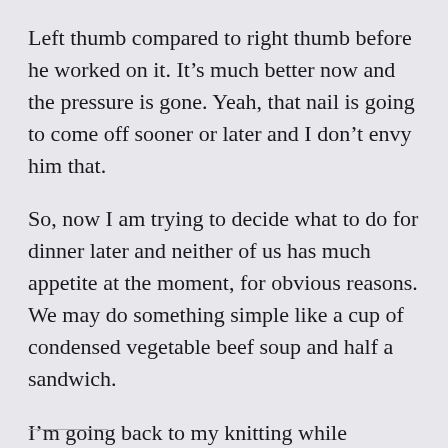Left thumb compared to right thumb before he worked on it. It’s much better now and the pressure is gone. Yeah, that nail is going to come off sooner or later and I don’t envy him that.
So, now I am trying to decide what to do for dinner later and neither of us has much appetite at the moment, for obvious reasons. We may do something simple like a cup of condensed vegetable beef soup and half a sandwich.
I’m going back to my knitting while watching Law & Order reruns on TV.